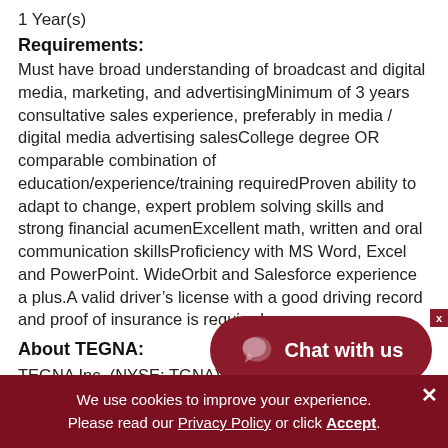1 Year(s)
Requirements:
Must have broad understanding of broadcast and digital media, marketing, and advertisingMinimum of 3 years consultative sales experience, preferably in media / digital media advertising salesCollege degree OR comparable combination of education/experience/training requiredProven ability to adapt to change, expert problem solving skills and strong financial acumenExcellent math, written and oral communication skillsProficiency with MS Word, Excel and PowerPoint. WideOrbit and Salesforce experience a plus.A valid driver’s license with a good driving record and proof of insurance is required.
About TEGNA:
TEGNA Inc. (NYSE: TGNA), formerly Gannett Co., Inc.
We use cookies to improve your experience. Please read our Privacy Policy or click Accept.